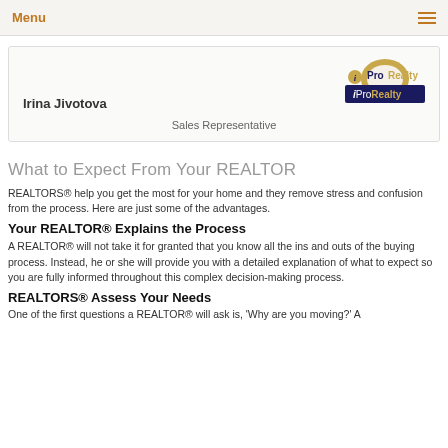Menu
[Figure (logo): iProRealty logo with agent card showing Irina Jivotova, Sales Representative]
What to Expect From Your REALTOR
REALTORS® help you get the most for your home and they remove stress and confusion from the process. Here are just some of the advantages.
Your REALTOR® Explains the Process
A REALTOR® will not take it for granted that you know all the ins and outs of the buying process. Instead, he or she will provide you with a detailed explanation of what to expect so you are fully informed throughout this complex decision-making process.
REALTORS® Assess Your Needs
One of the first questions a REALTOR® will ask is, 'Why are you moving?'...